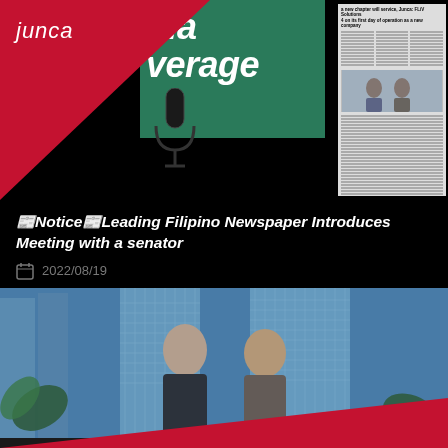junca
dia
verage
[Figure (photo): Newspaper clipping showing article about a new chapter and FLIV Solutions, with a photo of people at a signing ceremony]
📰Notice📰Leading Filipino Newspaper Introduces Meeting with a senator
2022/08/19
[Figure (photo): Two people posing outdoors in front of high-rise buildings with blue tinted sky]
Signed a MOU with VANGUARD CORPORATE SERVICES (HK) LIMITED for future partnership
2022/08/16